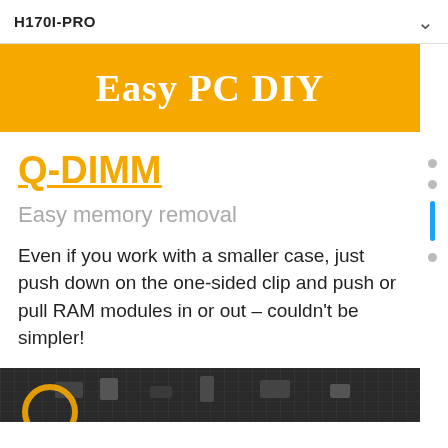H170I-PRO
Easy PC DIY
Q-DIMM
Easy memory removal
Even if you work with a smaller case, just push down on the one-sided clip and push or pull RAM modules in or out – couldn't be simpler!
[Figure (photo): Close-up photo of a motherboard showing RAM slots and components, with a yellow circle highlight]